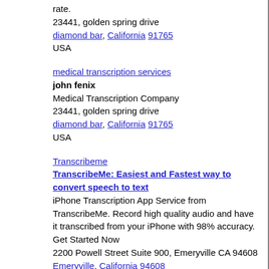rate.
23441, golden spring drive
diamond bar, California 91765
USA
medical transcription services
john fenix
Medical Transcription Company
23441, golden spring drive
diamond bar, California 91765
USA
Transcribeme
TranscribeMe: Easiest and Fastest way to convert speech to text
iPhone Transcription App Service from TranscribeMe. Record high quality audio and have it transcribed from your iPhone with 98% accuracy. Get Started Now
2200 Powell Street Suite 900, Emeryville CA 94608
Emeryville, California 94608
USA
TLC Transcription Service